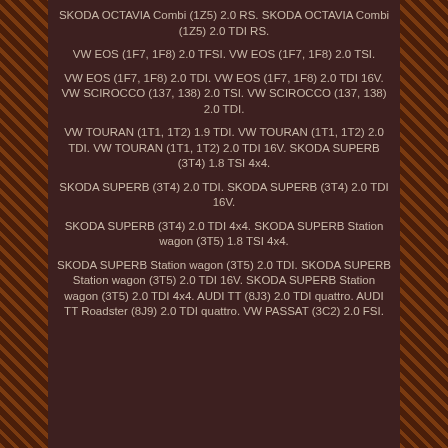SKODA OCTAVIA Combi (1Z5) 2.0 RS. SKODA OCTAVIA Combi (1Z5) 2.0 TDI RS.
VW EOS (1F7, 1F8) 2.0 TFSI. VW EOS (1F7, 1F8) 2.0 TSI.
VW EOS (1F7, 1F8) 2.0 TDI. VW EOS (1F7, 1F8) 2.0 TDI 16V. VW SCIROCCO (137, 138) 2.0 TSI. VW SCIROCCO (137, 138) 2.0 TDI.
VW TOURAN (1T1, 1T2) 1.9 TDI. VW TOURAN (1T1, 1T2) 2.0 TDI. VW TOURAN (1T1, 1T2) 2.0 TDI 16V. SKODA SUPERB (3T4) 1.8 TSI 4x4.
SKODA SUPERB (3T4) 2.0 TDI. SKODA SUPERB (3T4) 2.0 TDI 16V.
SKODA SUPERB (3T4) 2.0 TDI 4x4. SKODA SUPERB Station wagon (3T5) 1.8 TSI 4x4.
SKODA SUPERB Station wagon (3T5) 2.0 TDI. SKODA SUPERB Station wagon (3T5) 2.0 TDI 16V. SKODA SUPERB Station wagon (3T5) 2.0 TDI 4x4. AUDI TT (8J3) 2.0 TDI quattro. AUDI TT Roadster (8J9) 2.0 TDI quattro. VW PASSAT (3C2) 2.0 FSI.